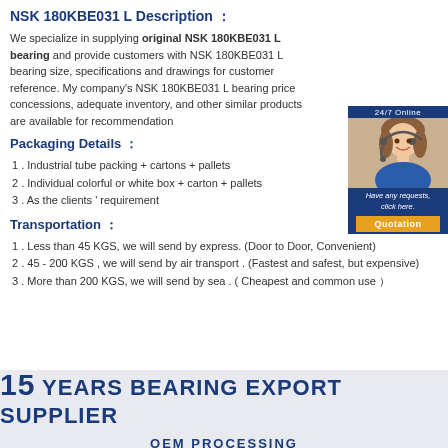NSK 180KBE031 L Description :
We specialize in supplying original NSK 180KBE031 L bearing and provide customers with NSK 180KBE031 L bearing size, specifications and drawings for customer reference. My company's NSK 180KBE031 L bearing price concessions, adequate inventory, and other similar products are available for recommendation
[Figure (photo): Customer service representative photo with '24/7 Online' label, contact prompt, and Quotation button]
Packaging Details :
1 . Industrial tube packing + cartons + pallets
2 . Individual colorful or white box + carton + pallets
3 . As the clients ' requirement
Transportation :
1 . Less than 45 KGS, we will send by express. (Door to Door, Convenient)
2 . 45 - 200 KGS , we will send by air transport . (Fastest and safest, but expensive)
3 . More than 200 KGS, we will send by sea . ( Cheapest and common use )
[Figure (infographic): Banner: 15 YEARS BEARING EXPORT SUPPLIER with OEM PROCESSING subtitle on light blue background]